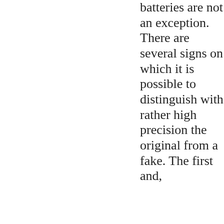Batteries are not an exception. There are several signs on which it is possible to distinguish with rather high precision the original from a fake. The first and,